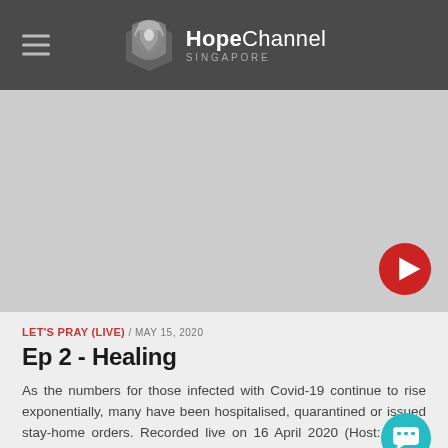HopeChannel SINGAPORE
[Figure (screenshot): Video thumbnail placeholder - grey area with red play button in bottom right corner]
LET'S PRAY (LIVE) / MAY 15, 2020
Ep 2 - Healing
As the numbers for those infected with Covid-19 continue to rise exponentially, many have been hospitalised, quarantined or issued stay-home orders. Recorded live on 16 April 2020 (Host: Pastor Johnny Kan)